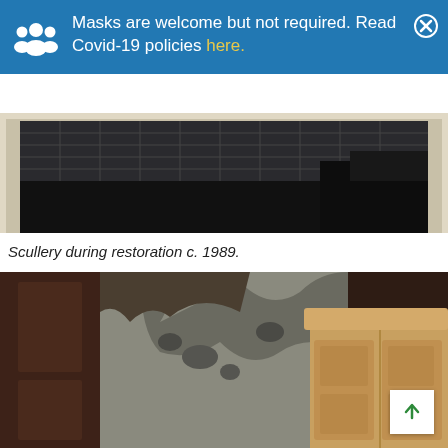Masks are welcome but not required. Read Covid-19 policies here.
[Figure (photo): Top portion of a black-and-white photograph showing an interior room with a tiled floor or ceiling grid, partially visible in a light-colored frame.]
Scullery during restoration c. 1989.
[Figure (photo): Interior room photo showing damaged plaster/peeling walls near the ceiling, a dark wooden door on the left, and light oak wooden cabinetry on the right.]